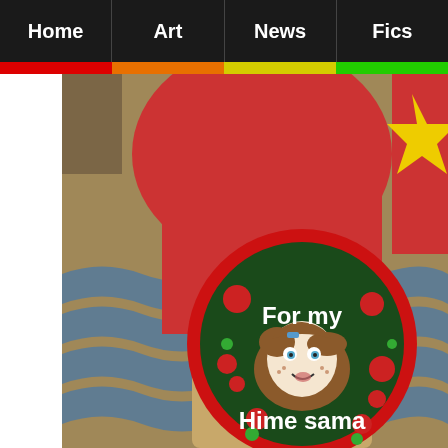Home | Art | News | Fics
[Figure (photo): A person wearing a red shirt with a circular badge/button attached to their back. The badge has a dark green background with a red border, depicting a cartoon character face with brown hair and the text 'For my Hime sama'. There is also a yellow star shape visible. The setting appears to be a convention floor with patterned carpet.]